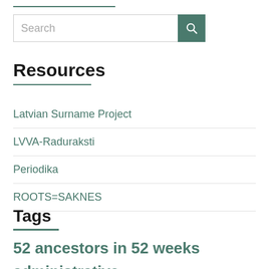[Figure (other): Search input box with teal search button icon]
Resources
Latvian Surname Project
LVVA-Raduraksti
Periodika
ROOTS=SAKNES
Tags
52 ancestors in 52 weeks administrative blogging prompts canada carnivals census commemorations courses denmark diary entries emigration estonia family family history through the alphabet farms forename friday